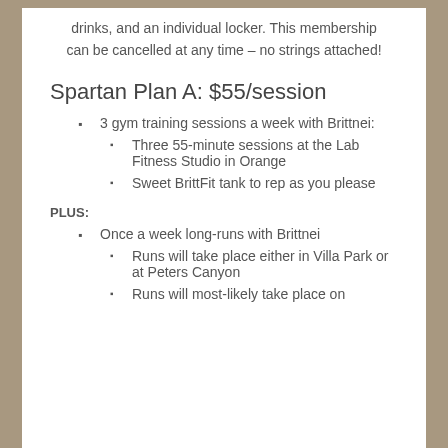drinks, and an individual locker. This membership can be cancelled at any time – no strings attached!
Spartan Plan A: $55/session
3 gym training sessions a week with Brittnei:
Three 55-minute sessions at the Lab Fitness Studio in Orange
Sweet BrittFit tank to rep as you please
PLUS:
Once a week long-runs with Brittnei
Runs will take place either in Villa Park or at Peters Canyon
Runs will most-likely take place on